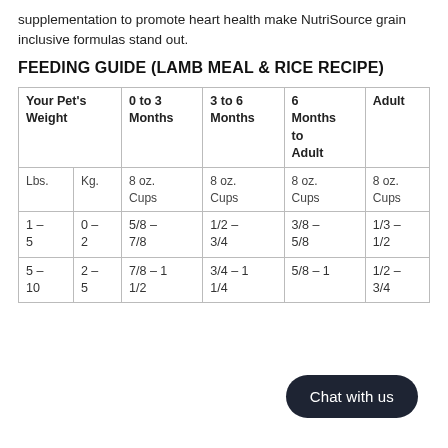supplementation to promote heart health make NutriSource grain inclusive formulas stand out.
FEEDING GUIDE (LAMB MEAL & RICE RECIPE)
| Your Pet's Weight | 0 to 3 Months | 3 to 6 Months | 6 Months to Adult | Adult |
| --- | --- | --- | --- | --- |
| Lbs.  Kg. | 8 oz. Cups | 8 oz. Cups | 8 oz. Cups | 8 oz. Cups |
| 1 – 5  0 – 2 | 5/8 – 7/8 | 1/2 – 3/4 | 3/8 – 5/8 | 1/3 – 1/2 |
| 5 – 10  2 – 5 | 7/8 – 1 1/2 | 3/4 – 1 1/4 | 5/8 – 1 | 1/2 – 3/4 |